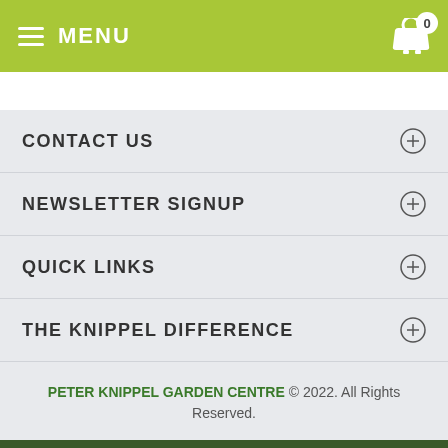MENU
CONTACT US
NEWSLETTER SIGNUP
QUICK LINKS
THE KNIPPEL DIFFERENCE
PETER KNIPPEL GARDEN CENTRE © 2022. All Rights Reserved.
BACK TO TOP
NEW INVENTORY RECEIVED!!! CLICK HERE TO VIEW...